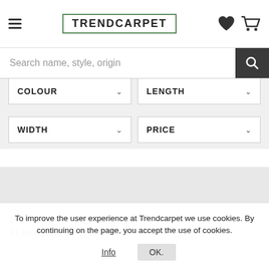TRENDCARPET
Search name, style, origin
COLOUR
LENGTH
WIDTH
PRICE
Start / Red and beige rugs
21 products
To improve the user experience at Trendcarpet we use cookies. By continuing on the page, you accept the use of cookies.